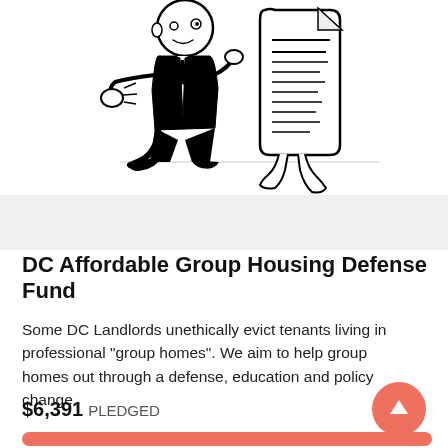[Figure (illustration): Cartoon of a businessman in a suit kicking a document/contract character (anthropomorphized document with legs). Black and white line drawing.]
DC Affordable Group Housing Defense Fund
Some DC Landlords unethically evict tenants living in professional "group homes". We aim to help group homes out through a defense, education and policy change.
$6,391 PLEDGED